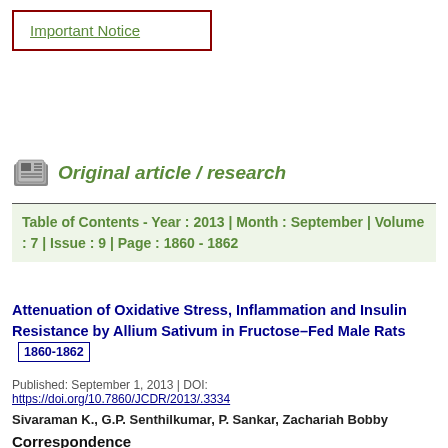Important Notice
Original article / research
Table of Contents - Year : 2013 | Month : September | Volume : 7 | Issue : 9 | Page : 1860 - 1862
Attenuation of Oxidative Stress, Inflammation and Insulin Resistance by Allium Sativum in Fructose–Fed Male Rats  1860-1862
Published: September 1, 2013 | DOI: https://doi.org/10.7860/JCDR/2013/.3334
Sivaraman K., G.P. Senthilkumar, P. Sankar, Zachariah Bobby
Correspondence
Dr. G.P. Senthil Kumar,
Lecturer, Department of Biochemistry, Jawaharlal Institute of Postgraduate Medical Education and Research, Pondicherry, India.